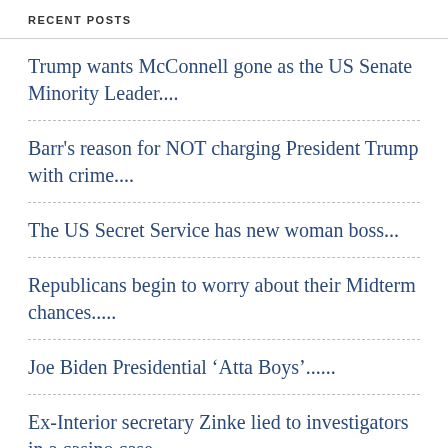RECENT POSTS
Trump wants McConnell gone as the US Senate Minority Leader....
Barr's reason for NOT charging President Trump with crime....
The US Secret Service has new woman boss...
Republicans begin to worry about their Midterm chances.....
Joe Biden Presidential 'Atta Boys'......
Ex-Interior secretary Zinke lied to investigators in a casino case...